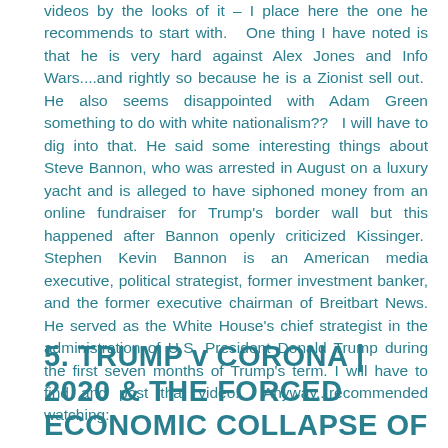videos by the looks of it – I place here the one he recommends to start with.   One thing I have noted is that he is very hard against Alex Jones and Info Wars....and rightly so because he is a Zionist sell out.  He also seems disappointed with Adam Green something to do with white nationalism??   I will have to dig into that.  He said some interesting things about Steve Bannon, who was arrested in August on a luxury yacht and is alleged to have siphoned money from an online fundraiser for Trump's border wall but this happened after Bannon openly criticized Kissinger.  Stephen Kevin Bannon is an American media executive, political strategist, former investment banker, and the former executive chairman of Breitbart News. He served as the White House's chief strategist in the administration of U.S. President Donald Trump during the first seven months of Trump's term. I will have to find and post that video.  Anyway...recommended watching:
5. TRUMP v CORONA | 2020 & THE FORCED ECONOMIC COLLAPSE OF